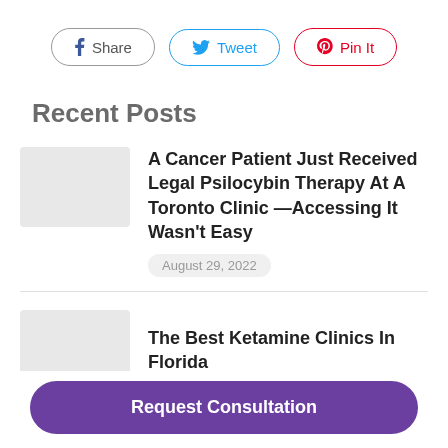[Figure (infographic): Social sharing buttons: Facebook Share (grey border), Twitter Tweet (blue border), Pinterest Pin It (red border)]
Recent Posts
A Cancer Patient Just Received Legal Psilocybin Therapy At A Toronto Clinic —Accessing It Wasn't Easy
August 29, 2022
The Best Ketamine Clinics In Florida
Request Consultation